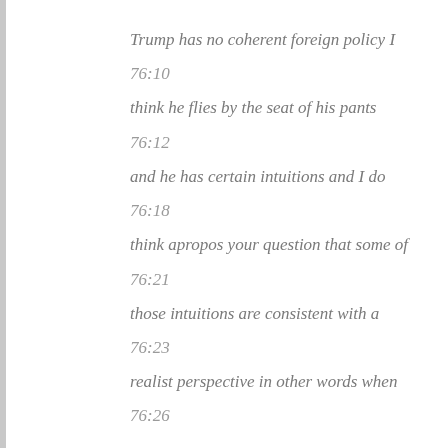Trump has no coherent foreign policy I
76:10
think he flies by the seat of his pants
76:12
and he has certain intuitions and I do
76:18
think apropos your question that some of
76:21
those intuitions are consistent with a
76:23
realist perspective in other words when
76:26